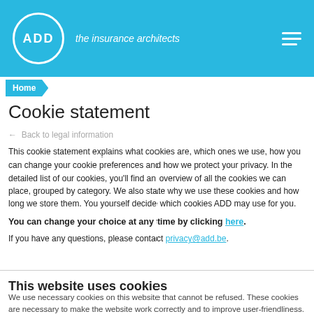ADD – the insurance architects
Home
Cookie statement
← Back to legal information
This cookie statement explains what cookies are, which ones we use, how you can change your cookie preferences and how we protect your privacy. In the detailed list of our cookies, you'll find an overview of all the cookies we can place, grouped by category. We also state why we use these cookies and how long we store them. You yourself decide which cookies ADD may use for you.
You can change your choice at any time by clicking here.
If you have any questions, please contact privacy@add.be.
This website uses cookies
We use necessary cookies on this website that cannot be refused. These cookies are necessary to make the website work correctly and to improve user-friendliness. In addition, we use cookies to manage your preferences, to analyze the use of our website and to personalize our content and